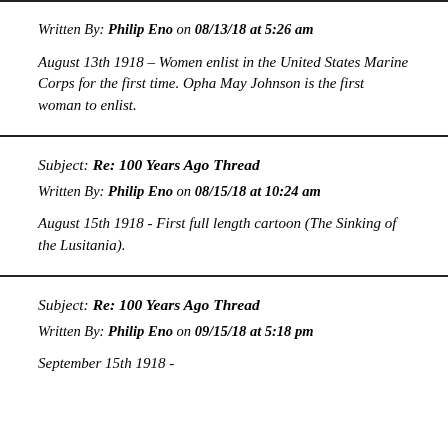Written By: Philip Eno on 08/13/18 at 5:26 am
August 13th 1918 – Women enlist in the United States Marine Corps for the first time. Opha May Johnson is the first woman to enlist.
Subject: Re: 100 Years Ago Thread
Written By: Philip Eno on 08/15/18 at 10:24 am
August 15th 1918 - First full length cartoon (The Sinking of the Lusitania).
Subject: Re: 100 Years Ago Thread
Written By: Philip Eno on 09/15/18 at 5:18 pm
September 15th 1918 - ...